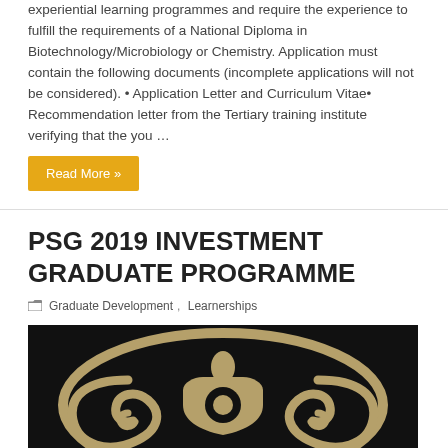experiential learning programmes and require the experience to fulfill the requirements of a National Diploma in Biotechnology/Microbiology or Chemistry. Application must contain the following documents (incomplete applications will not be considered). • Application Letter and Curriculum Vitae• Recommendation letter from the Tertiary training institute verifying that the you …
Read More »
PSG 2019 INVESTMENT GRADUATE PROGRAMME
Graduate Development, Learnerships
[Figure (logo): PSG company logo — gold/tan spiral emblem design on black background, showing a symmetrical figure with two curved spiral shapes inside an oval ring]